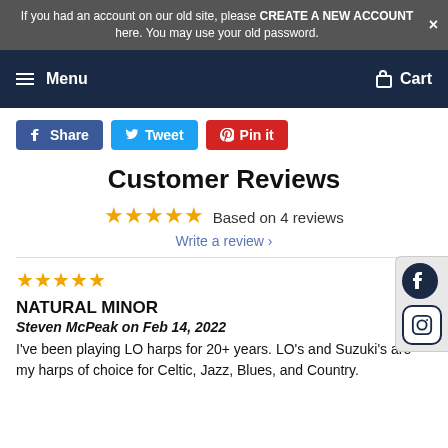If you had an account on our old site, please CREATE A NEW ACCOUNT here. You may use your old password.
Menu   Cart
[Figure (other): Social share buttons: Share (Facebook), Tweet, Pin it]
Customer Reviews
★★★★★ Based on 4 reviews
Write a review ›
★★★★★
NATURAL MINOR
Steven McPeak on Feb 14, 2022
I've been playing LO harps for 20+ years. LO's and Suzuki's are my harps of choice for Celtic, Jazz, Blues, and Country.